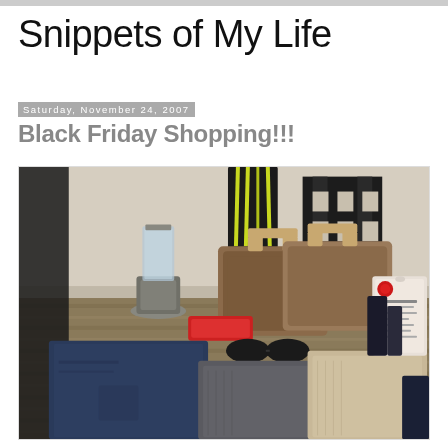Snippets of My Life
Saturday, November 24, 2007
Black Friday Shopping!!!
[Figure (photo): A table covered with Black Friday purchases including a blender, luggage bags, jeans, sweaters, sunglasses, a red wallet/clutch, and a box of Fuzzy Foot Masks, displayed on a striped wooden table with a black chair and plant in the background.]